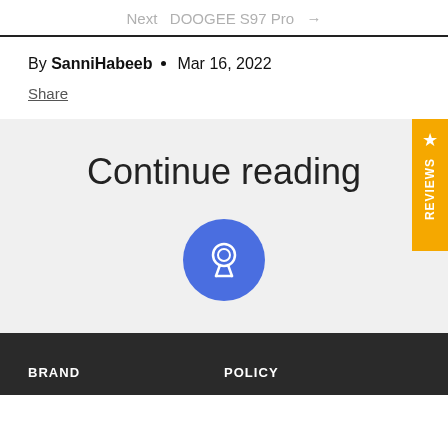Next  DOOGEE S97 Pro  →
By SanniHabeeb • Mar 16, 2022
Share
Continue reading
[Figure (illustration): Blue circle badge/medal icon]
BRAND    POLICY